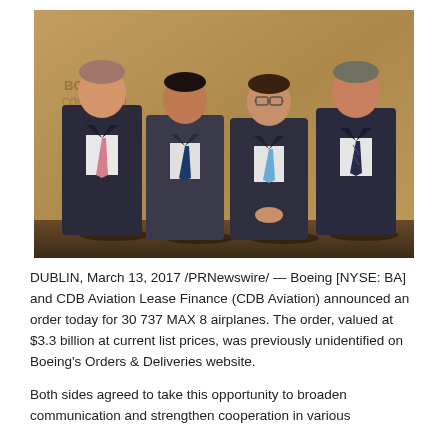[Figure (photo): Four men in suits standing together posing for a photo in front of a bronze/gold textured wall with text in the background. The leftmost man wears a pink tie, second man wears a dark blue tie, third wears a light blue tie, and fourth wears a dark striped tie.]
DUBLIN, March 13, 2017 /PRNewswire/ — Boeing [NYSE: BA] and CDB Aviation Lease Finance (CDB Aviation) announced an order today for 30 737 MAX 8 airplanes. The order, valued at $3.3 billion at current list prices, was previously unidentified on Boeing's Orders & Deliveries website.
Both sides agreed to take this opportunity to broaden communication and strengthen cooperation in various